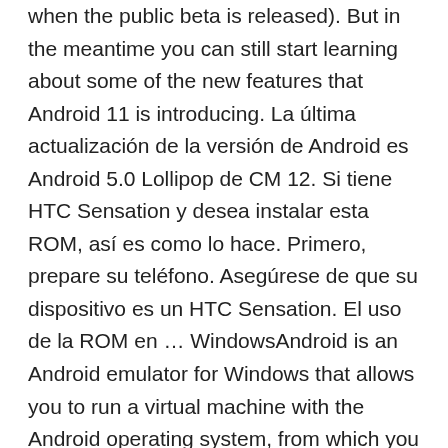when the public beta is released). But in the meantime you can still start learning about some of the new features that Android 11 is introducing. La última actualización de la versión de Android es Android 5.0 Lollipop de CM 12. Si tiene HTC Sensation y desea instalar esta ROM, así es como lo hace. Primero, prepare su teléfono. Asegúrese de que su dispositivo es un HTC Sensation. El uso de la ROM en ... WindowsAndroid is an Android emulator for Windows that allows you to run a virtual machine with the Android operating system, from which you can perform any activity that you normally would on a smartphone running this operating system. Using the program is very simple, which is ... Port to Android, from 2.1 to 4.3, on ARMv6, ARMv7, x86 and MIPS. New port to iOS, from iOS 5 to 7, on all iPads and iPhones after 3GS. Partial port to WinRT, for Windows 8, 8.1 and WP8. Rooting is a process that allows you to obtain complete rights over your Android device. Gaining root level access or rooting enables you to customize the device...